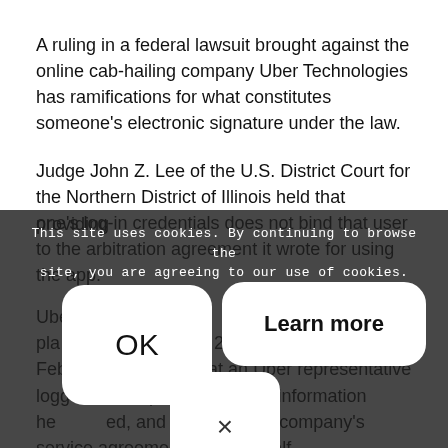A ruling in a federal lawsuit brought against the online cab-hailing company Uber Technologies has ramifications for what constitutes someone's electronic signature under the law.
Judge John Z. Lee of the U.S. District Court for the Northern District of Illinois held that providing one's log-in credentials does not bind that user to the arbitration agreement it wrote for using the app.
Uber has faced a richer of drivers sued by plaintiff Mohammed in 2016. In his suit, filed in February 2016 alleged that an Uber representative logged company's app with information he provided, and accepted the company's service agreement on his behalf
[Figure (screenshot): Cookie consent overlay with semi-transparent dark background. Contains text: 'This site uses cookies. By continuing to browse the site, you are agreeing to our use of cookies.' Three buttons: 'OK' (white rounded rectangle, left), 'Learn more' (white rounded rectangle with border, right), and 'x' close button (white rounded square, bottom center).]